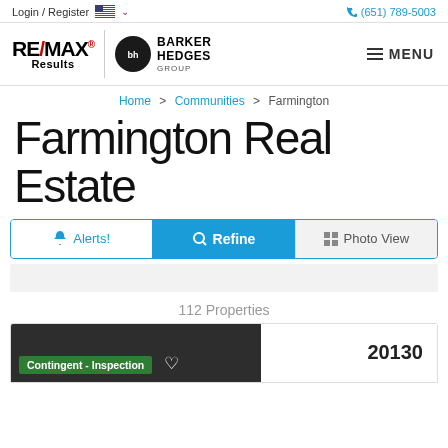Login / Register  (651) 789-5003
[Figure (logo): RE/MAX Results and Barker Hedges Group logo with MENU button]
Home > Communities > Farmington
Farmington Real Estate
Alerts!  Refine  Photo View
112 Properties
Contingent - Inspection  20130